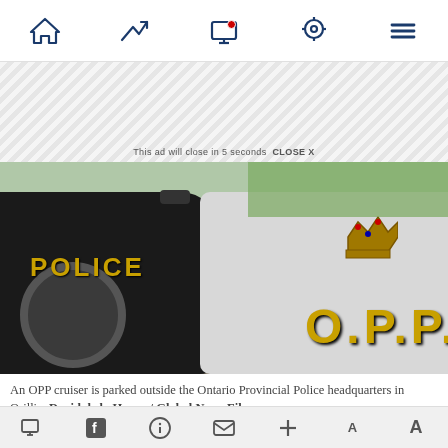Navigation bar with home, trending, screen, location, and menu icons
[Figure (screenshot): Ad banner area with diagonal stripe pattern and close ad text: This ad will close in 5 seconds CLOSE X]
[Figure (photo): An OPP (Ontario Provincial Police) cruiser parked outside the Ontario Provincial Police headquarters in Orillia. The black and white police vehicle shows POLICE text on the door and O.P.P. lettering with a royal crown insignia.]
An OPP cruiser is parked outside the Ontario Provincial Police headquarters in Orillia. David de la Harpe / Global News File
Bottom toolbar with share icons: screen, facebook, info, email, plus, text size controls